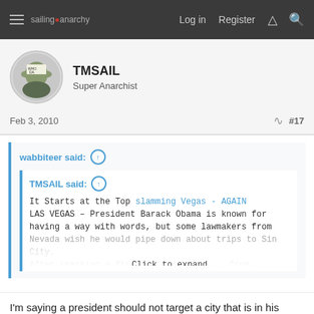sailing anarchy  Log in  Register
TMSAIL
Super Anarchist
Feb 3, 2010  #17
wabbiteer said: ↑
TMSAIL said: ↑
It Starts at the Top slamming Vegas - AGAIN
LAS VEGAS – President Barack Obama is known for having a way with words, but some lawmakers from Nevada wish he would pipe down about trips to Sin City. After sparking a fire... from Nevada's
Click to expand...
I'm saying a president should not target a city that is in his country.